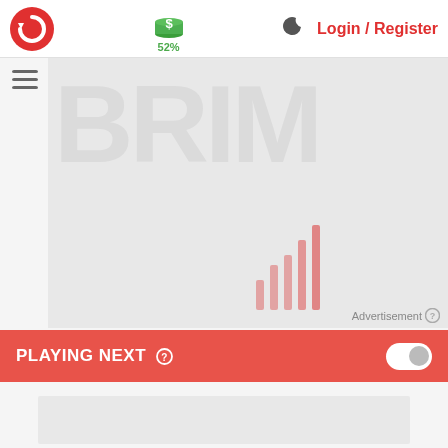[Figure (logo): Red circular logo with white refresh/cycle arrow icon]
[Figure (infographic): Green dollar coin stack icon with 52% label below]
[Figure (infographic): Dark crescent moon icon for night mode toggle]
Login / Register
[Figure (other): Hamburger menu icon (three horizontal lines)]
[Figure (bar-chart): Advertisement area with light pink/red vertical bars of varying heights at bottom center, BRIM watermark text in background]
Advertisement ?
PLAYING NEXT ?
[Figure (other): Toggle switch in off position (white background, grey knob on right)]
[Figure (other): Light grey content placeholder box at bottom]